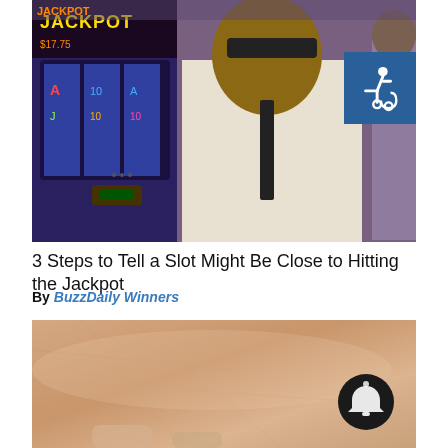[Figure (photo): A casino security guard or employee standing next to a slot machine in a casino interior. The slot machine screen shows colorful symbols including numbers and letters.]
3 Steps to Tell a Slot Might Be Close to Hitting the Jackpot
By BuzzDaily Winners
[Figure (photo): Close-up photo of human skin texture, appears to be an arm or body part. A dark circular notification/bell button icon is overlaid in the lower right area.]